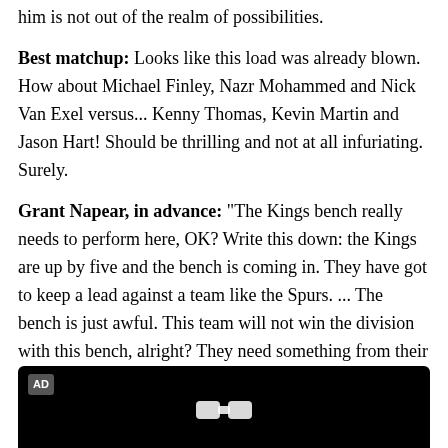him is not out of the realm of possibilities.
Best matchup: Looks like this load was already blown. How about Michael Finley, Nazr Mohammed and Nick Van Exel versus... Kenny Thomas, Kevin Martin and Jason Hart! Should be thrilling and not at all infuriating. Surely.
Grant Napear, in advance: "The Kings bench really needs to perform here, OK? Write this down: the Kings are up by five and the bench is coming in. They have got to keep a lead against a team like the Spurs. ... The bench is just awful. This team will not win the division with this bench, alright? They need something from their bench. Blah blah blah."
[Figure (other): Black advertisement video player area with AD label in top left corner and a logo icon at the bottom center.]